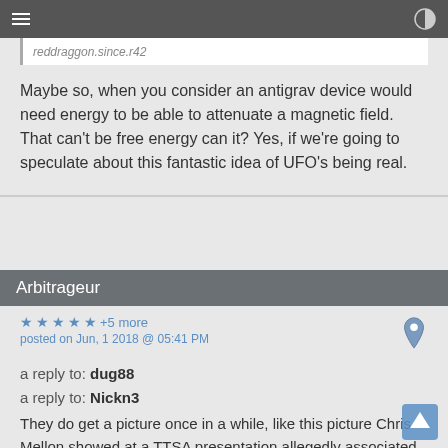Maybe so, when you consider an antigrav device would need energy to be able to attenuate a magnetic field. That can't be free energy can it? Yes, if we're going to speculate about this fantastic idea of UFO's being real.
Arbitrageur
★ ★ ★ ★ ★ +5 more
posted on Jun, 1 2018 @ 05:41 PM
a reply to: dug88
a reply to: Nickn3
They do get a picture once in a while, like this picture Chris Mellon showed at a TTSA presentation allegedly associated with the Nimitz UFO which "defied the laws of physics", and he said it's obviously not US technology, so whose is it? He's right that it wasn't US tech, hovering there without any